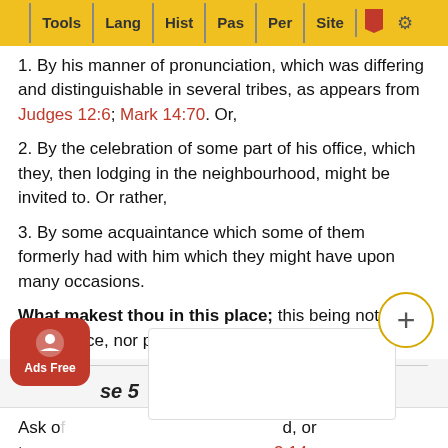Tools | Lang | Hist | Pas | Per | Site
1. By his manner of pronunciation, which was differing and distinguishable in several tribes, as appears from Judges 12:6; Mark 14:70. Or,
2. By the celebration of some part of his office, which they, then lodging in the neighbourhood, might be invited to. Or rather,
3. By some acquaintance which some of them formerly had with him which they might have upon many occasions.
What makest thou in this place; this being not thy usual place, nor proper for thy employment?
Verse 5
Ask of, or terapd, or